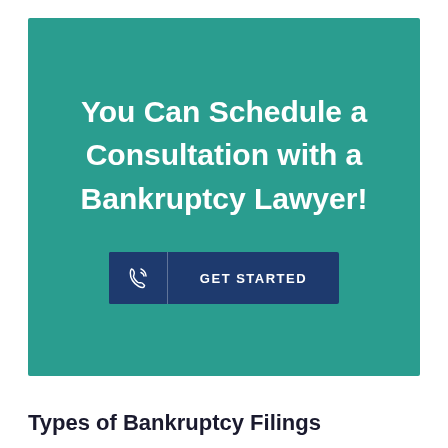[Figure (infographic): Teal call-to-action banner with bold white text reading 'You Can Schedule a Consultation with a Bankruptcy Lawyer!' and a dark blue 'GET STARTED' button with a phone icon.]
Types of Bankruptcy Filings